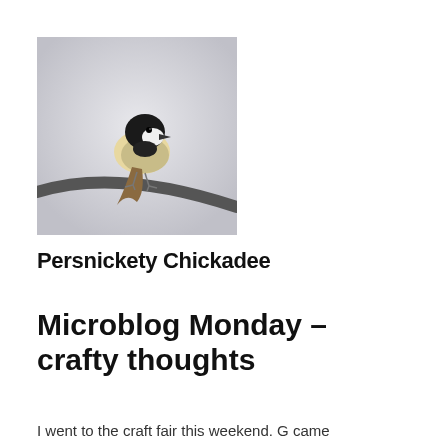[Figure (photo): A chickadee bird perched on a curved dark branch against a light grey background. The bird has a black cap and bib, white cheeks, and yellowish-buff body.]
Persnickety Chickadee
Microblog Monday – crafty thoughts
I went to the craft fair this weekend. G came